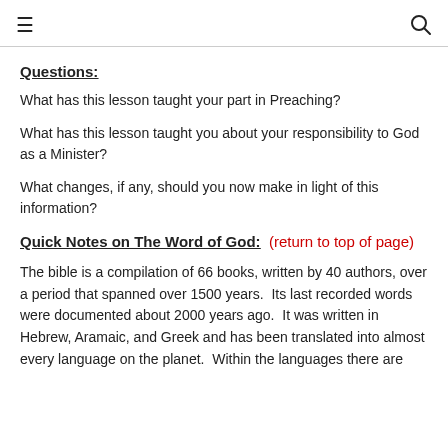≡  🔍
Questions:
What has this lesson taught your part in Preaching?
What has this lesson taught you about your responsibility to God as a Minister?
What changes, if any, should you now make in light of this information?
Quick Notes on The Word of God:  (return to top of page)
The bible is a compilation of 66 books, written by 40 authors, over a period that spanned over 1500 years.  Its last recorded words were documented about 2000 years ago.  It was written in Hebrew, Aramaic, and Greek and has been translated into almost every language on the planet.  Within the languages there are